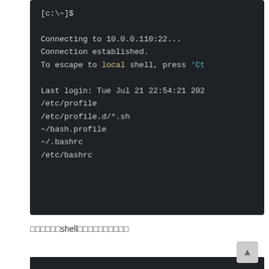[Figure (screenshot): Terminal/SSH session screenshot showing connection to 10.0.0.110:22, connection established message, escape key hint with 'local' highlighted in yellow and 'Ct' in cyan, last login info, and shell profile file paths: /etc/profile, /etc/profile.d/*.sh, ~/bash.profile, ~/.bashrc, /etc/bashrc]
□□□□□□shell□□□□□□□□□□